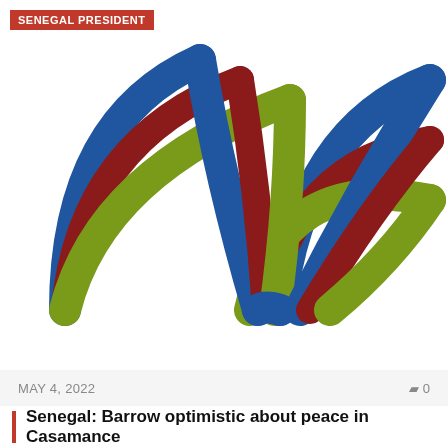SENEGAL PRESIDENT
[Figure (logo): Stylized logo with three interweaving arc shapes in blue, dark red/maroon, and olive/yellow-green colors, arranged in a fan-like pattern converging at the bottom, resembling a tree or palm fronds.]
MAY 4, 2022   0
Senegal: Barrow optimistic about peace in Casamance